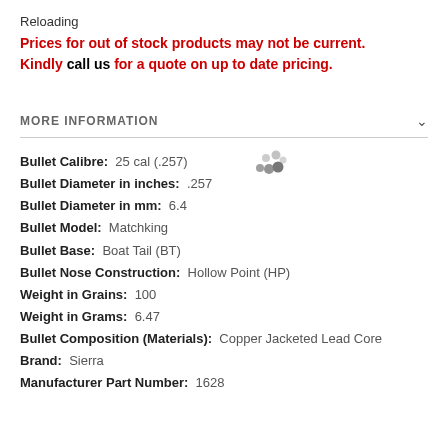Reloading
Prices for out of stock products may not be current. Kindly call us for a quote on up to date pricing.
MORE INFORMATION
Bullet Calibre:  25 cal (.257)
Bullet Diameter in inches:  .257
Bullet Diameter in mm:  6.4
Bullet Model:  Matchking
Bullet Base:  Boat Tail (BT)
Bullet Nose Construction:  Hollow Point (HP)
Weight in Grains:  100
Weight in Grams:  6.47
Bullet Composition (Materials):  Copper Jacketed Lead Core
Brand:  Sierra
Manufacturer Part Number:  1628